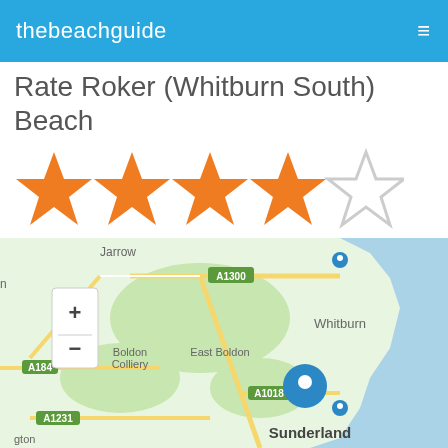thebeachguide
Rate Roker (Whitburn South) Beach
[Figure (infographic): 5-star rating display showing 4 filled orange stars and 1 empty star outline]
Rating: 4/5 (40 votes cast)
[Figure (map): Map showing area around Sunderland, UK including Jarrow, Boldon Colliery, East Boldon, Whitburn, Sunderland with roads A1300, A184, A1018, A1231 marked. Two blue location pins visible on the coast near Roker/Whitburn South Beach area.]